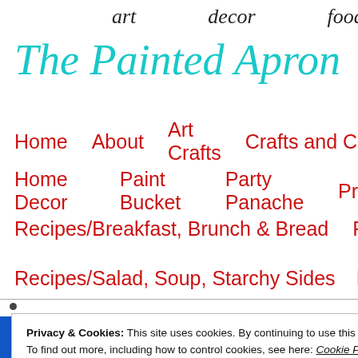art   decor   food
The Painted Apron
Home   About   Art Crafts   Crafts and Creations
Home Decor   Paint Bucket   Party Panache   Pr
Recipes/Breakfast, Brunch & Bread   Recipes/Cro
Recipes/Salad, Soup, Starchy Sides   Recipes/Veg
Privacy & Cookies: This site uses cookies. By continuing to use this website, you agree to their use.
To find out more, including how to control cookies, see here: Cookie Policy
Close and accept
[Figure (photo): Garden Gates banner image in blue with cursive white text]